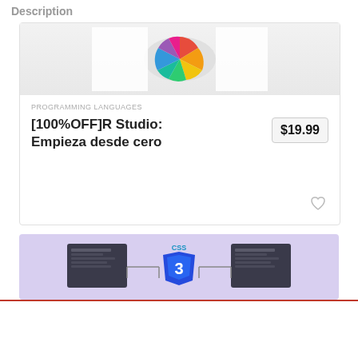Description
[Figure (screenshot): Top portion of a course card showing a colorful spinner wheel image on a light background]
PROGRAMMING LANGUAGES
[100%OFF]R Studio: Empieza desde cero
$19.99
[Figure (screenshot): Bottom course card thumbnail showing CSS3 logo with dark code editor panels on a purple/lavender background]